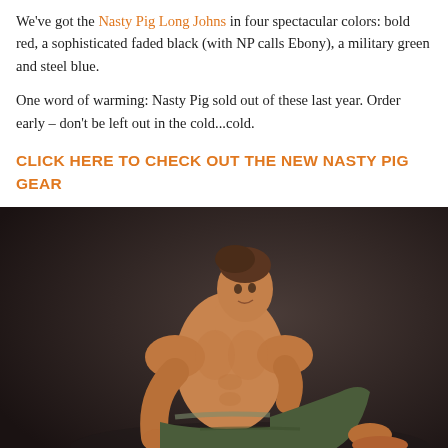We've got the Nasty Pig Long Johns in four spectacular colors: bold red, a sophisticated faded black (with NP calls Ebony), a military green and steel blue.
One word of warming: Nasty Pig sold out of these last year. Order early – don't be left out in the cold...cold.
CLICK HERE TO CHECK OUT THE NEW NASTY PIG GEAR
[Figure (photo): A shirtless muscular man sitting on a dark studio floor wearing olive/military green long john pants, posed with one knee up, looking toward the camera. Watermark reads JockstrapCentral in bottom right.]